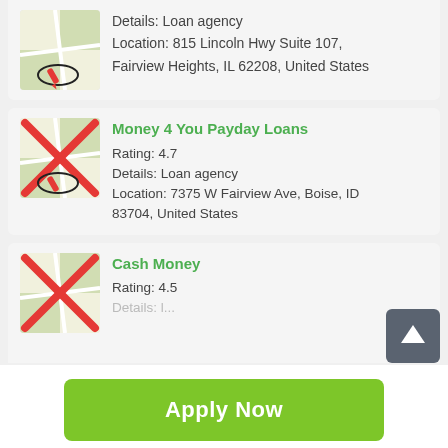[Figure (screenshot): Partial card at top showing loan agency icon with map and location pin, text: Details: Loan agency, Location: 815 Lincoln Hwy Suite 107, Fairview Heights, IL 62208, United States]
Details: Loan agency
Location: 815 Lincoln Hwy Suite 107, Fairview Heights, IL 62208, United States
Money 4 You Payday Loans
Rating: 4.7
Details: Loan agency
Location: 7375 W Fairview Ave, Boise, ID 83704, United States
Cash Money
Rating: 4.5
Details: ...
Apply Now
Applying does NOT affect your credit score!
No credit check to apply.